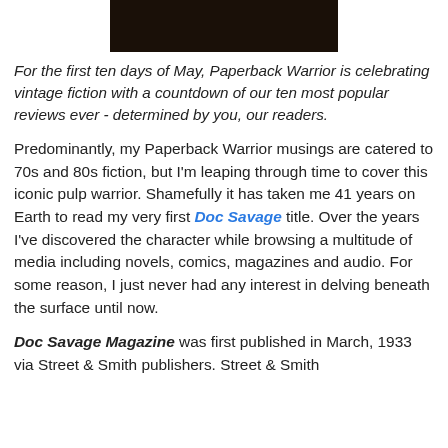[Figure (photo): Dark, moody image cropped at the top of the page showing an indistinct dark figure/scene with very low lighting]
For the first ten days of May, Paperback Warrior is celebrating vintage fiction with a countdown of our ten most popular reviews ever - determined by you, our readers.
Predominantly, my Paperback Warrior musings are catered to 70s and 80s fiction, but I'm leaping through time to cover this iconic pulp warrior. Shamefully it has taken me 41 years on Earth to read my very first Doc Savage title. Over the years I've discovered the character while browsing a multitude of media including novels, comics, magazines and audio. For some reason, I just never had any interest in delving beneath the surface until now.
Doc Savage Magazine was first published in March, 1933 via Street & Smith publishers. Street & Smith